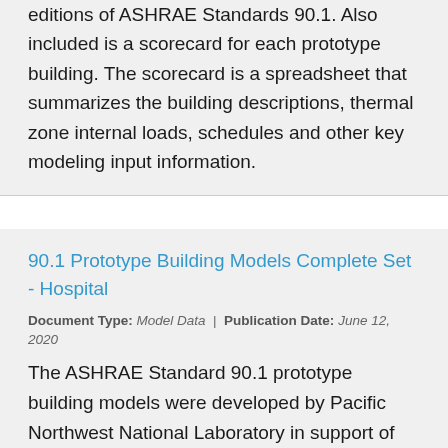editions of ASHRAE Standards 90.1. Also included is a scorecard for each prototype building. The scorecard is a spreadsheet that summarizes the building descriptions, thermal zone internal loads, schedules and other key modeling input information.
90.1 Prototype Building Models Complete Set - Hospital
Document Type: Model Data | Publication Date: June 12, 2020
The ASHRAE Standard 90.1 prototype building models were developed by Pacific Northwest National Laboratory in support of the U.S. Department of Energy's (DOE's) Building Energy Codes Program. These prototype buildings were derived from DOE's Commercial Reference Building Models. The prototype models include 16